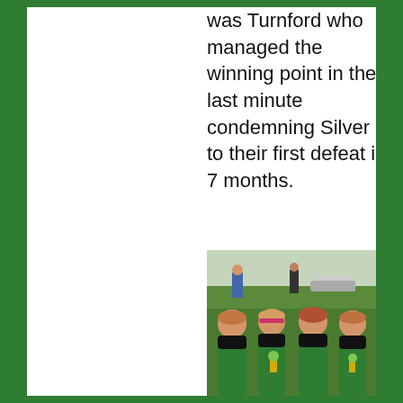was Turnford who managed the winning point in the last minute condemning Silver to their first defeat in 7 months.
[Figure (photo): Four young girls in green sports uniforms holding trophies, standing outdoors on grass with trees and a car in the background.]